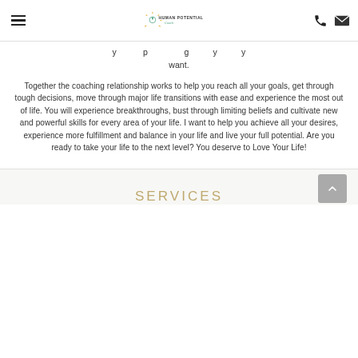Human Potential Coach — navigation header with logo, hamburger menu, phone and email icons
y … p … g … y … y want.
Together the coaching relationship works to help you reach all your goals, get through tough decisions, move through major life transitions with ease and experience the most out of life. You will experience breakthroughs, bust through limiting beliefs and cultivate new and powerful skills for every area of your life. I want to help you achieve all your desires, experience more fulfillment and balance in your life and live your full potential. Are you ready to take your life to the next level? You deserve to Love Your Life!
SERVICES